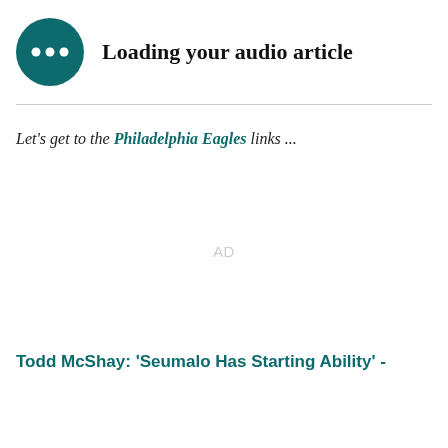[Figure (other): Audio player with dark teal circular icon showing three dots, and bold text 'Loading your audio article']
Let's get to the Philadelphia Eagles links ...
AD
Todd McShay: 'Seumalo Has Starting Ability' -